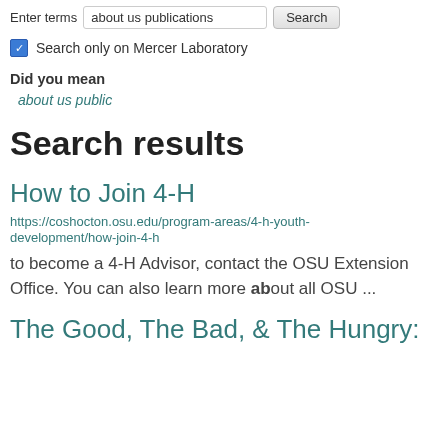Enter terms  about us publications  Search
Search only on Mercer Laboratory
Did you mean
about us public
Search results
How to Join 4-H
https://coshocton.osu.edu/program-areas/4-h-youth-development/how-join-4-h
to become a 4-H Advisor, contact the OSU Extension Office. You can also learn more about all OSU ...
The Good, The Bad, & The Hungry: